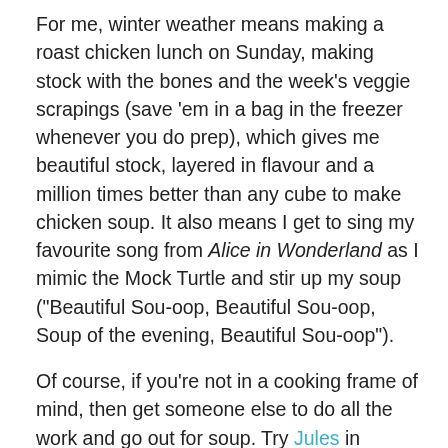For me, winter weather means making a roast chicken lunch on Sunday, making stock with the bones and the week's veggie scrapings (save 'em in a bag in the freezer whenever you do prep), which gives me beautiful stock, layered in flavour and a million times better than any cube to make chicken soup. It also means I get to sing my favourite song from Alice in Wonderland as I mimic the Mock Turtle and stir up my soup ("Beautiful Sou-oop, Beautiful Sou-oop, Soup of the evening, Beautiful Sou-oop").
Of course, if you're not in a cooking frame of mind, then get someone else to do all the work and go out for soup. Try Jules in Gastown for their killer French Onion topped with a soup-soaked slice of French bread and melted cheese. Feel decadent at Joe Fortes with their velvety Lobster Bisque spiked with brandy and cream. Or eat your feelings at Burgoo with their